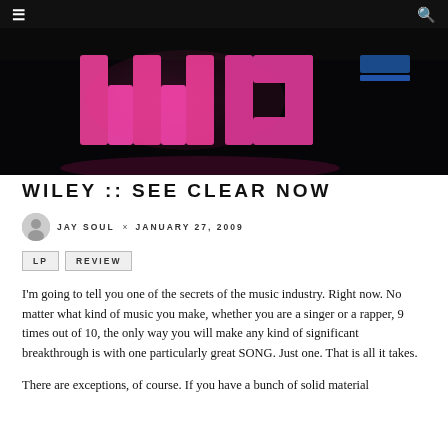☰  🔍
[Figure (photo): Dark concert/stage photo with large pink/magenta neon letters partially spelling 'W' visible against a black background]
WILEY :: SEE CLEAR NOW
JAY SOUL × JANUARY 27, 2009
LP
REVIEW
I'm going to tell you one of the secrets of the music industry. Right now. No matter what kind of music you make, whether you are a singer or a rapper, 9 times out of 10, the only way you will make any kind of significant breakthrough is with one particularly great SONG. Just one. That is all it takes.
There are exceptions, of course. If you have a bunch of solid material